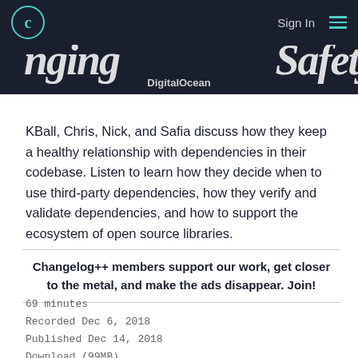Sign In
[Figure (screenshot): Changelog website navigation bar with logo, Sign In link, and hamburger menu on dark background]
DigitalOcean
KBall, Chris, Nick, and Safia discuss how they keep a healthy relationship with dependencies in their codebase. Listen to learn how they decide when to use third-party dependencies, how they verify and validate dependencies, and how to support the ecosystem of open source libraries.
Changelog++ members support our work, get closer to the metal, and make the ads disappear. Join!
69 minutes
Recorded Dec 6, 2018
Published Dec 14, 2018
Download (99MB)